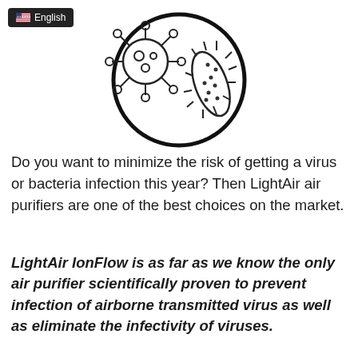[Figure (illustration): Circle containing line-art illustration of a virus (round with spikes and circular protrusions) and a bacterium (elongated oval with small spikes and dots) on a white background. A dark language badge showing a US flag and 'English' is overlaid in the top-left corner.]
Do you want to minimize the risk of getting a virus or bacteria infection this year? Then LightAir air purifiers are one of the best choices on the market.
LightAir IonFlow is as far as we know the only air purifier scientifically proven to prevent infection of airborne transmitted virus as well as eliminate the infectivity of viruses.